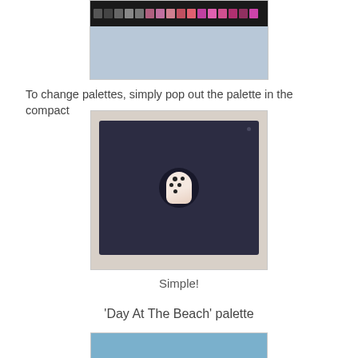[Figure (photo): Top portion of a makeup palette with eyeshadow swatches in various colors arranged in a row, against a light blue background.]
To change palettes, simply pop out the palette in the compact
[Figure (photo): A close-up photo of a dark navy/black compact with a circular button being pressed by a finger with decorated nail art featuring polka dots.]
Simple!
'Day At The Beach' palette
[Figure (photo): Bottom portion of a palette against a light blue background, partially visible.]